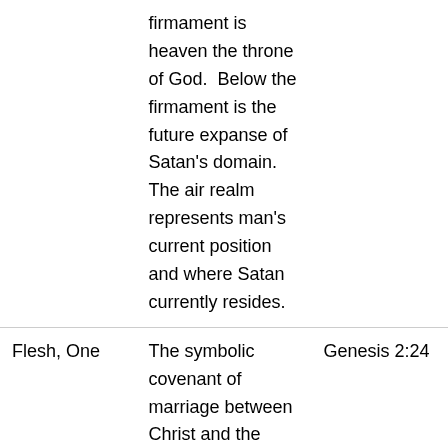|  |  |  |
| --- | --- | --- |
|  | firmament is heaven the throne of God.  Below the firmament is the future expanse of Satan's domain.  The air realm represents man's current position and where Satan currently resides. |  |
| Flesh, One | The symbolic covenant of marriage between Christ and the church | Genesis 2:24 |